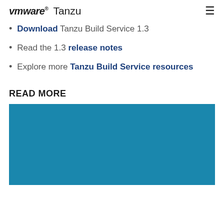VMware Tanzu
Download Tanzu Build Service 1.3
Read the 1.3 release notes
Explore more Tanzu Build Service resources
READ MORE
[Figure (photo): Solid teal/blue rectangle, appears to be a teaser image card for a linked article]